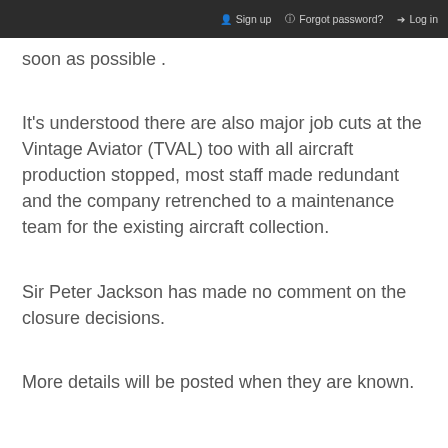Sign up   Forgot password?   Log in
soon as possible .
It's understood there are also major job cuts at the Vintage Aviator (TVAL) too with all aircraft production stopped, most staff made redundant and the company retrenched to a maintenance team for the existing aircraft collection.
Sir Peter Jackson has made no comment on the closure decisions.
More details will be posted when they are known.